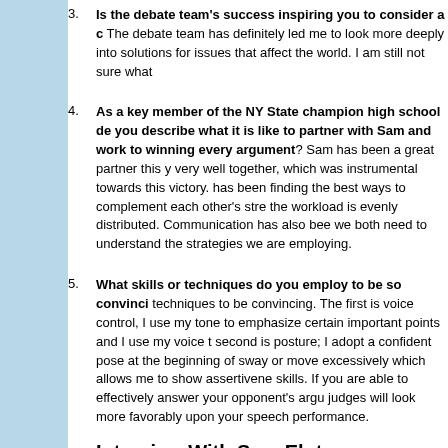3. Is the debate team's success inspiring you to consider a c... The debate team has definitely led me to look more deeply into solutions for issues that affect the world. I am still not sure what...
4. As a key member of the NY State champion high school de... you describe what it is like to partner with Sam and work to... winning every argument? Sam has been a great partner this y... very well together, which was instrumental towards this victory. has been finding the best ways to complement each other's stre... the workload is evenly distributed. Communication has also bee... we both need to understand the strategies we are employing.
5. What skills or techniques do you employ to be so convinci... techniques to be convincing. The first is voice control, I use my tone to emphasize certain important points and I use my voice t... second is posture; I adopt a confident pose at the beginning of sway or move excessively which allows me to show assertivene... skills. If you are able to effectively answer your opponent's argu... judges will look more favorably upon your speech performance.
Interview With Sam Eluto
1. How do you prep for a debate? I prep for debate by research positions on an open case list and tailor my positions towards th...